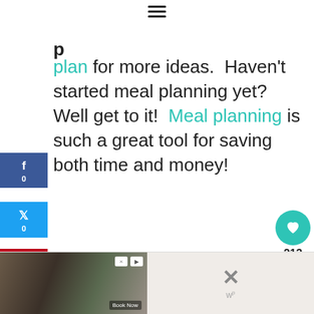≡ (hamburger menu icon)
p
plan for more ideas.  Haven't started meal planning yet?  Well get to it!  Meal planning is such a great tool for saving both time and money!
f
0
t
0
212
✉
212
SHARES
213
WHAT'S NEXT → Top gifts for a Crock Pot...